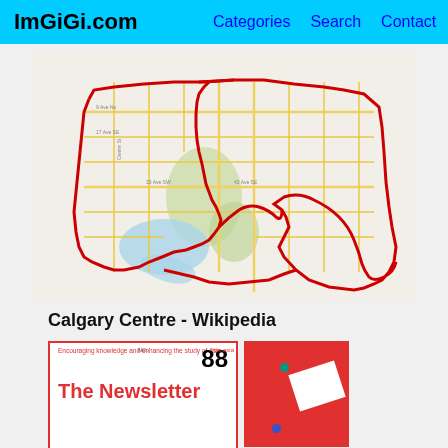ImGiGi.com | Categories | Search | Contact
[Figure (map): Street map of Calgary Centre showing road network with a red boundary outline marking the electoral district, yellow major roads, and blue water features.]
Calgary Centre - Wikipedia
[Figure (infographic): Newsletter preview showing 'The Newsletter' text in red on white background with issue number 88, tagline 'Encouraging knowledge and enhancing the study of Asia', and a red box with white paper and colored dots on the right.]